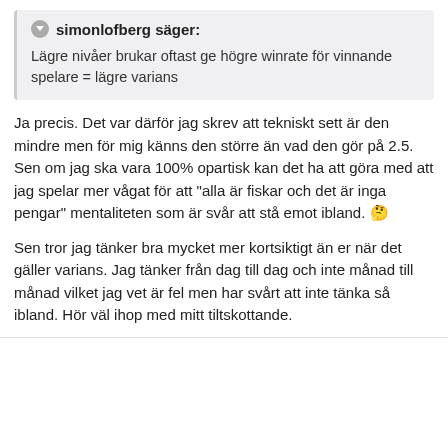simonlofberg säger:
Lägre nivåer brukar oftast ge högre winrate för vinnande spelare = lägre varians
Ja precis. Det var därför jag skrev att tekniskt sett är den mindre men för mig känns den större än vad den gör på 2.5. Sen om jag ska vara 100% opartisk kan det ha att göra med att jag spelar mer vågat för att "alla är fiskar och det är inga pengar" mentaliteten som är svår att stå emot ibland. 🤔
Sen tror jag tänker bra mycket mer kortsiktigt än er när det gäller varians. Jag tänker från dag till dag och inte månad till månad vilket jag vet är fel men har svårt att inte tänka så ibland. Hör väl ihop med mitt tiltskottande.